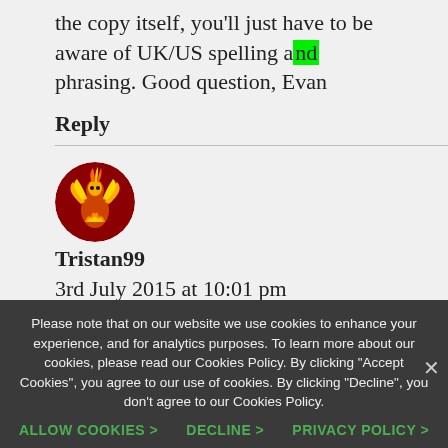the copy itself, you'll just have to be aware of UK/US spelling and phrasing. Good question, Evan
Reply
[Figure (illustration): Circular avatar image of user Tristan99 showing a golden phoenix or bird figure on dark red background]
Tristan99
3rd July 2015 at 10:01 pm
Please note that on our website we use cookies to enhance your experience, and for analytics purposes. To learn more about our cookies, please read our Cookies Policy. By clicking "Accept Cookies", you agree to our use of cookies. By clicking "Decline", you don't agree to our Cookies Policy.
ALLOW COOKIES > DECLINE > PRIVACY POLICY >